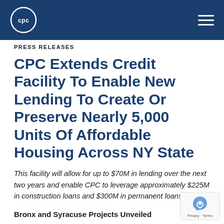CPC logo and navigation header
PRESS RELEASES
CPC Extends Credit Facility To Enable New Lending To Create Or Preserve Nearly 5,000 Units Of Affordable Housing Across NY State
This facility will allow for up to $70M in lending over the next two years and enable CPC to leverage approximately $225M in construction loans and $300M in permanent loans
Bronx and Syracuse Projects Unveiled